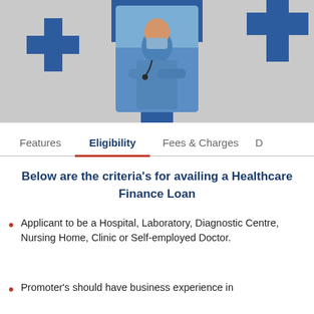[Figure (illustration): Hero banner with grey background featuring a doctor wearing a mask and stethoscope centered in a blue medical cross shape, with two blue plus signs on left and right sides.]
Features | Eligibility | Fees & Charges | D
Below are the criteria's for availing a Healthcare Finance Loan
Applicant to be a Hospital, Laboratory, Diagnostic Centre, Nursing Home, Clinic or Self-employed Doctor.
Promoter's should have business experience in